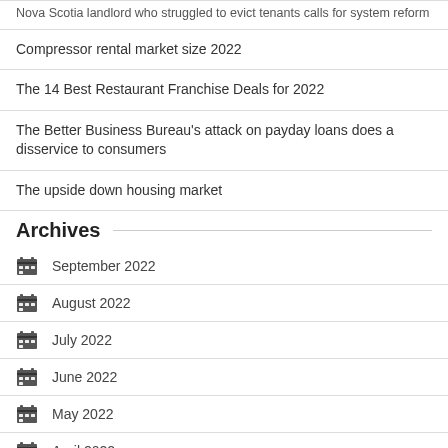Nova Scotia landlord who struggled to evict tenants calls for system reform
Compressor rental market size 2022
The 14 Best Restaurant Franchise Deals for 2022
The Better Business Bureau's attack on payday loans does a disservice to consumers
The upside down housing market
Archives
September 2022
August 2022
July 2022
June 2022
May 2022
April 2022